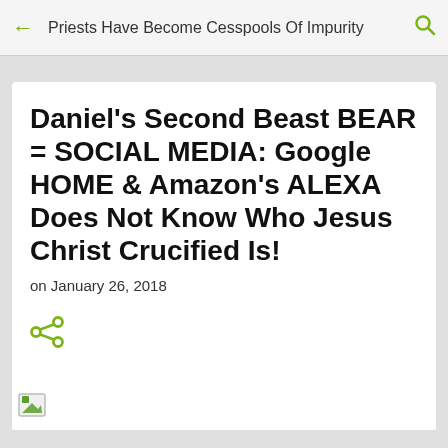Priests Have Become Cesspools Of Impurity
Daniel's Second Beast BEAR = SOCIAL MEDIA: Google HOME & Amazon's ALEXA Does Not Know Who Jesus Christ Crucified Is!
on January 26, 2018
[Figure (other): Share icon (green)]
[Figure (other): Broken image placeholder at bottom of page]